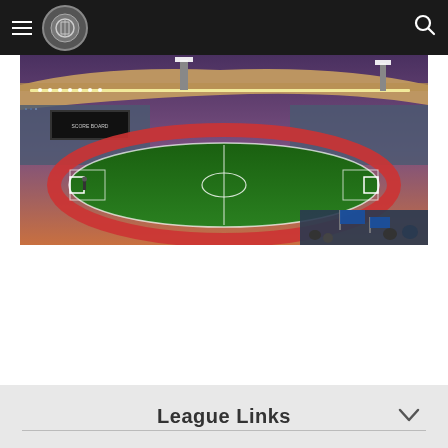Navigation bar with hamburger menu, circular logo, and search icon
[Figure (photo): Stadium rendering showing a football pitch with red athletics track surrounding it, modern curved roof structure, floodlights, packed crowd stands, and fans in the foreground holding blue flags]
League Links
[Figure (other): Horizontal divider line]